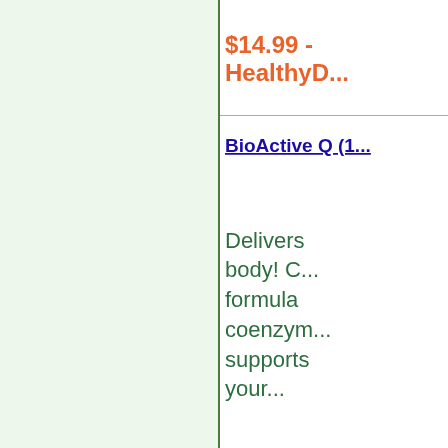$14.99 - HealthyD...
BioActive Q (1...
Delivers body! C formula coenzy supports your...
SKU: BAQ ID # BA...